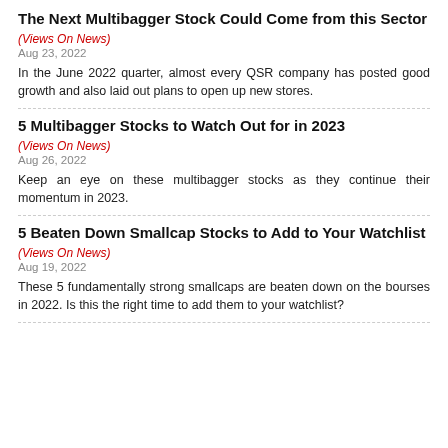The Next Multibagger Stock Could Come from this Sector
(Views On News)
Aug 23, 2022
In the June 2022 quarter, almost every QSR company has posted good growth and also laid out plans to open up new stores.
5 Multibagger Stocks to Watch Out for in 2023
(Views On News)
Aug 26, 2022
Keep an eye on these multibagger stocks as they continue their momentum in 2023.
5 Beaten Down Smallcap Stocks to Add to Your Watchlist
(Views On News)
Aug 19, 2022
These 5 fundamentally strong smallcaps are beaten down on the bourses in 2022. Is this the right time to add them to your watchlist?